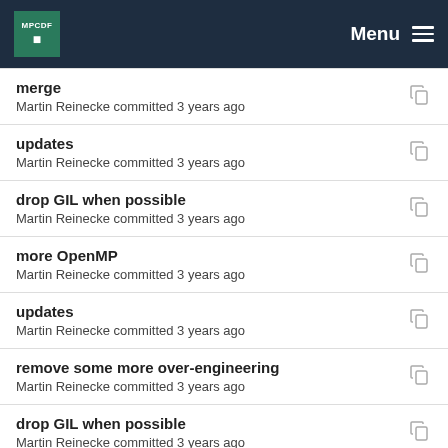MPCDF Menu
merge
Martin Reinecke committed 3 years ago
updates
Martin Reinecke committed 3 years ago
drop GIL when possible
Martin Reinecke committed 3 years ago
more OpenMP
Martin Reinecke committed 3 years ago
updates
Martin Reinecke committed 3 years ago
remove some more over-engineering
Martin Reinecke committed 3 years ago
drop GIL when possible
Martin Reinecke committed 3 years ago
updates